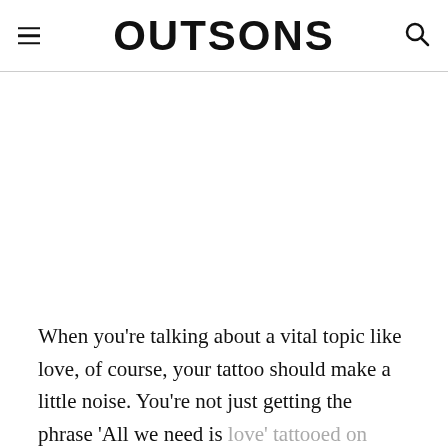OUTSONS
When you're talking about a vital topic like love, of course, your tattoo should make a little noise. You're not just getting the phrase 'All we need is love' tattooed on your body to post its picture on social media, but it also has a meaning to you.